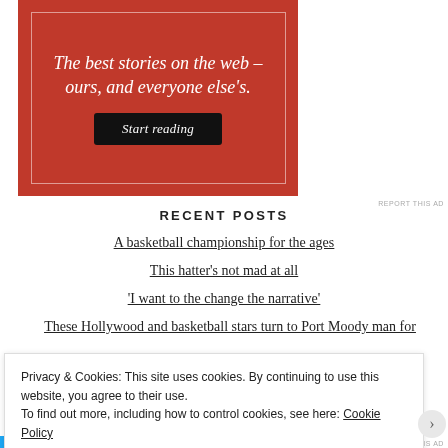[Figure (infographic): Red advertisement banner with white italic text reading 'The best stories on the web – ours, and everyone else's.' and a black 'Start reading' button, with a thin white inner border.]
REPORT THIS AD
RECENT POSTS
A basketball championship for the ages
This hatter's not mad at all
'I want to the change the narrative'
These Hollywood and basketball stars turn to Port Moody man for
Privacy & Cookies: This site uses cookies. By continuing to use this website, you agree to their use.
To find out more, including how to control cookies, see here: Cookie Policy
Close and accept